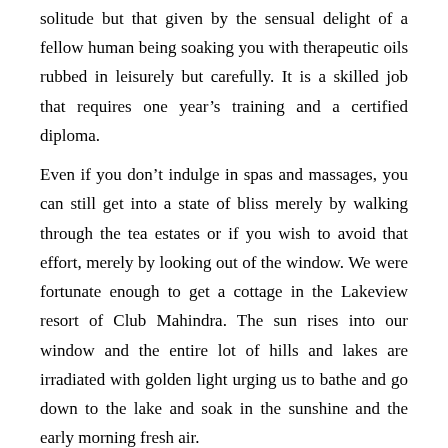solitude but that given by the sensual delight of a fellow human being soaking you with therapeutic oils rubbed in leisurely but carefully. It is a skilled job that requires one year's training and a certified diploma.

Even if you don't indulge in spas and massages, you can still get into a state of bliss merely by walking through the tea estates or if you wish to avoid that effort, merely by looking out of the window. We were fortunate enough to get a cottage in the Lakeview resort of Club Mahindra. The sun rises into our window and the entire lot of hills and lakes are irradiated with golden light urging us to bathe and go down to the lake and soak in the sunshine and the early morning fresh air.